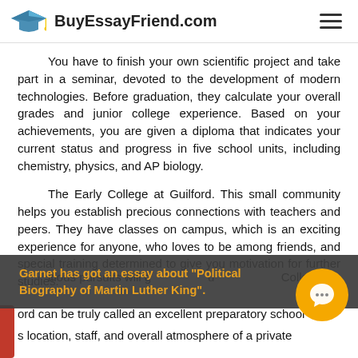BuyEssayFriend.com
You have to finish your own scientific project and take part in a seminar, devoted to the development of modern technologies. Before graduation, they calculate your overall grades and junior college experience. Based on your achievements, you are given a diploma that indicates your current status and progress in five school units, including chemistry, physics, and AP biology.
The Early College at Guilford. This small community helps you establish precious connections with teachers and peers. They have classes on campus, which is an exciting experience for anyone, who loves to be among friends, and special training determined to give you motivation for further studies.
...itious pursuits will g... u ...Colle... ord can be truly called an excellent preparatory school s location, staff, and overall atmosphere of a private
Garnet has got an essay about "Political Biography of Martin Luther King".